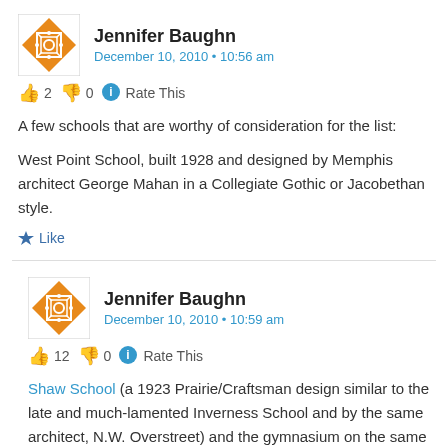Jennifer Baughn
December 10, 2010 • 10:56 am
👍 2 👎 0 ℹ️ Rate This
A few schools that are worthy of consideration for the list:
West Point School, built 1928 and designed by Memphis architect George Mahan in a Collegiate Gothic or Jacobethan style.
★ Like
Jennifer Baughn
December 10, 2010 • 10:59 am
👍 12 👎 0 ℹ️ Rate This
Shaw School (a 1923 Prairie/Craftsman design similar to the late and much-lamented Inverness School and by the same architect, N.W. Overstreet) and the gymnasium on the same campus, designed by Overstreet and Town in a unique Art Moderne style.